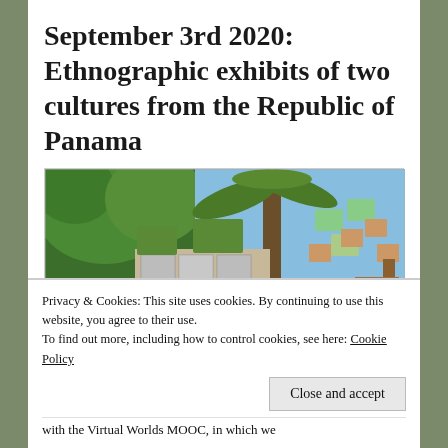September 3rd 2020: Ethnographic exhibits of two cultures from the Republic of Panama
[Figure (screenshot): A virtual world environment showing an outdoor ethnographic exhibit with virtual avatars browsing black-and-white photographs on display boards, surrounded by tropical greenery and floating image panels. A 'zoom' watermark is visible in the bottom right corner.]
Privacy & Cookies: This site uses cookies. By continuing to use this website, you agree to their use.
To find out more, including how to control cookies, see here: Cookie Policy
Close and accept
with the Virtual Worlds MOOC, in which we